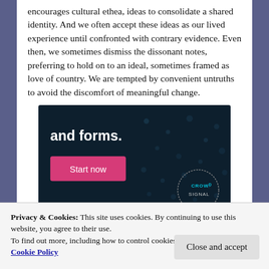encourages cultural ethea, ideas to consolidate a shared identity. And we often accept these ideas as our lived experience until confronted with contrary evidence. Even then, we sometimes dismiss the dissonant notes, preferring to hold on to an ideal, sometimes framed as love of country. We are tempted by convenient untruths to avoid the discomfort of meaningful change.
[Figure (screenshot): Dark navy advertisement banner with bold white text 'and forms.' and a pink 'Start now' button. A circular logo reading 'CROWD SIGNAL' is partially visible in the bottom right.]
Privacy & Cookies: This site uses cookies. By continuing to use this website, you agree to their use.
To find out more, including how to control cookies, see here: Cookie Policy